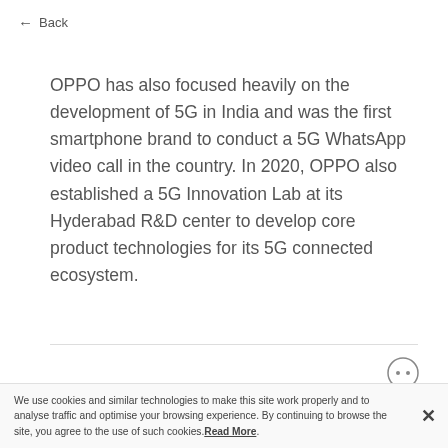← Back
OPPO has also focused heavily on the development of 5G in India and was the first smartphone brand to conduct a 5G WhatsApp video call in the country. In 2020, OPPO also established a 5G Innovation Lab at its Hyderabad R&D center to develop core product technologies for its 5G connected ecosystem.
Next  Ranbir Kapoor unboxes the latest a... →
We use cookies and similar technologies to make this site work properly and to analyse traffic and optimise your browsing experience. By continuing to browse the site, you agree to the use of such cookies. Read More.